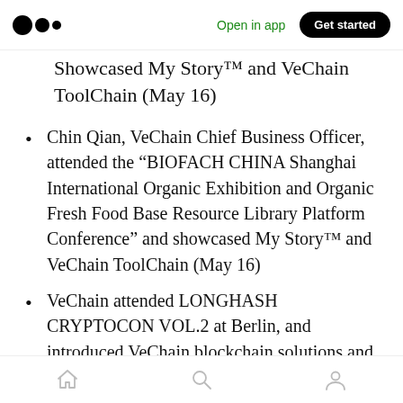Open in app | Get started
Showcased My Story™ and VeChain ToolChain (May 16)
Chin Qian, VeChain Chief Business Officer, attended the “BIOFACH CHINA Shanghai International Organic Exhibition and Organic Fresh Food Base Resource Library Platform Conference” and showcased My Story™ and VeChain ToolChain (May 16)
VeChain attended LONGHASH CRYPTOCON VOL.2 at Berlin, and introduced VeChain blockchain solutions and use cases (May 17)
Home | Search | Profile